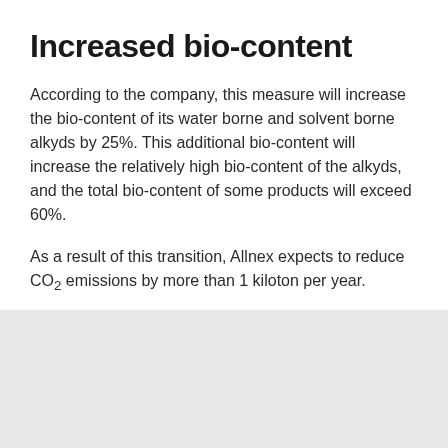Increased bio-content
According to the company, this measure will increase the bio-content of its water borne and solvent borne alkyds by 25%. This additional bio-content will increase the relatively high bio-content of the alkyds, and the total bio-content of some products will exceed 60%.
As a result of this transition, Allnex expects to reduce CO₂ emissions by more than 1 kiloton per year.
[Figure (other): Book cover for 'Polyester and Alkyd Resins' by Ulrich Poth, with a yellow stripe at the bottom. Also shows a share button (circle with share icon) in the lower left.]